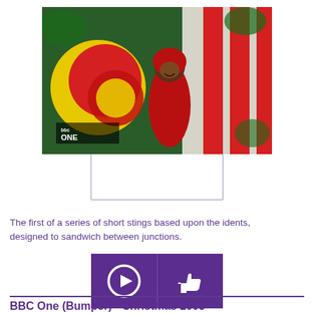[Figure (screenshot): A video screenshot showing a child in a red costume in front of large colorful props (red and yellow circles, red and white striped decoration) with a BBC ONE logo overlay in the lower left corner.]
The first of a series of short stings based upon the idents, designed to sandwich between junctions.
[Figure (infographic): Two purple square buttons side by side: the left has a white play button icon (circle with triangle), the right has a white thumbs-up icon.]
BBC One (Bumper) - Christmas 2005